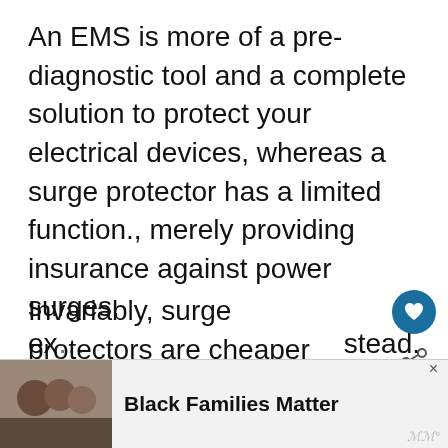An EMS is more of a pre-diagnostic tool and a complete solution to protect your electrical devices, whereas a surge protector has a limited function., merely providing insurance against power surges.
Invariably, surge protectors are cheaper than EMSs, so they are a budget-friendly option.
However, we recommend investing a few ex... stead.
[Figure (other): Ad banner at the bottom with a photo of a family (Black Families Matter advertisement) and partially visible text]
Black Families Matter